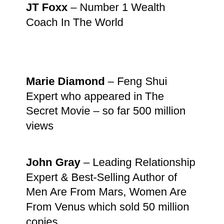JT Foxx – Number 1 Wealth Coach In The World
Marie Diamond – Feng Shui Expert who appeared in The Secret Movie – so far 500 million views
John Gray – Leading Relationship Expert & Best-Selling Author of Men Are From Mars, Women Are From Venus which sold 50 million copies